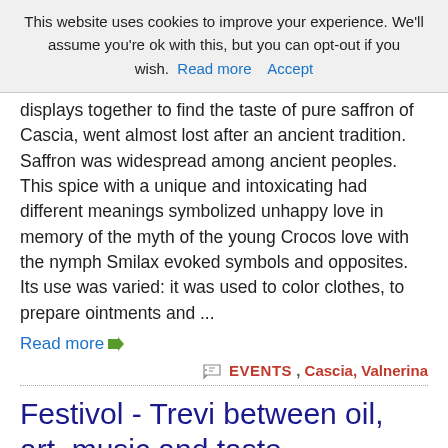This website uses cookies to improve your experience. We'll assume you're ok with this, but you can opt-out if you wish. Read more   Accept
displays together to find the taste of pure saffron of Cascia, went almost lost after an ancient tradition. Saffron was widespread among ancient peoples. This spice with a unique and intoxicating had different meanings symbolized unhappy love in memory of the myth of the young Crocos love with the nymph Smilax evoked symbols and opposites. Its use was varied: it was used to color clothes, to prepare ointments and ...
Read more →
EVENTS , Cascia, Valnerina
Festivol - Trevi between oil, art, music and taste
From 11/11/16 To 13/11/16